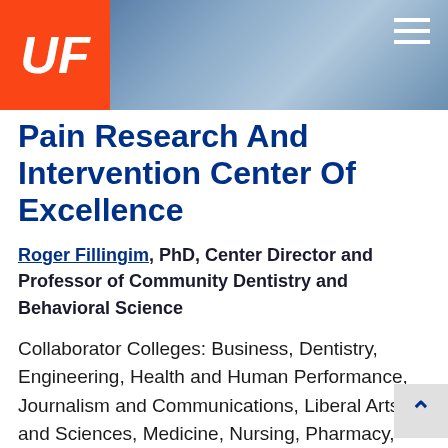[Figure (screenshot): University of Florida website header with UF logo (orange background, white italic UF text), a blue photo banner of people, and a white hamburger menu icon on the right.]
Pain Research And Intervention Center Of Excellence
Roger Fillingim, PhD, Center Director and Professor of Community Dentistry and Behavioral Science
Collaborator Colleges: Business, Dentistry, Engineering, Health and Human Performance, Journalism and Communications, Liberal Arts and Sciences, Medicine, Nursing, Pharmacy, Public Health and Health Professions, Veterinary Medicine